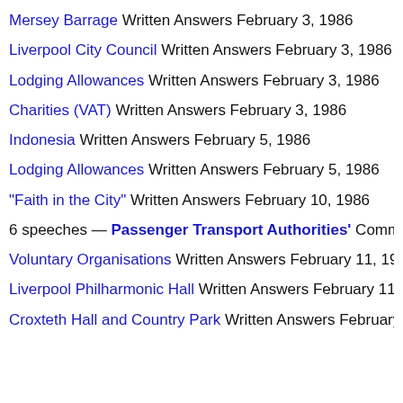Mersey Barrage Written Answers February 3, 1986
Liverpool City Council Written Answers February 3, 1986
Lodging Allowances Written Answers February 3, 1986
Charities (VAT) Written Answers February 3, 1986
Indonesia Written Answers February 5, 1986
Lodging Allowances Written Answers February 5, 1986
"Faith in the City" Written Answers February 10, 1986
6 speeches — Passenger Transport Authorities' Commons
Voluntary Organisations Written Answers February 11, 1986
Liverpool Philharmonic Hall Written Answers February 11, 198
Croxteth Hall and Country Park Written Answers February 11,